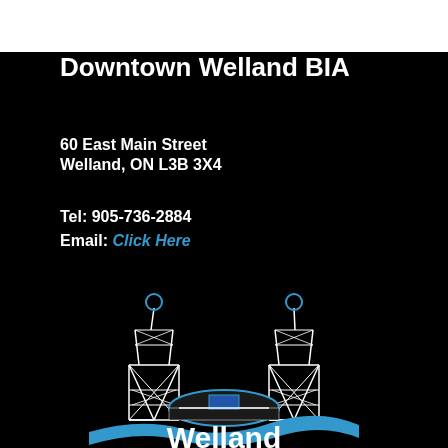Downtown Welland BIA
60 East Main Street
Welland, ON L3B 3X4
Tel: 905-736-2884
Email: Click Here
[Figure (logo): Welland city logo featuring two lattice towers with circular tops flanking a domed building, with a blue wave beneath and the word 'Welland' in white text on black background]